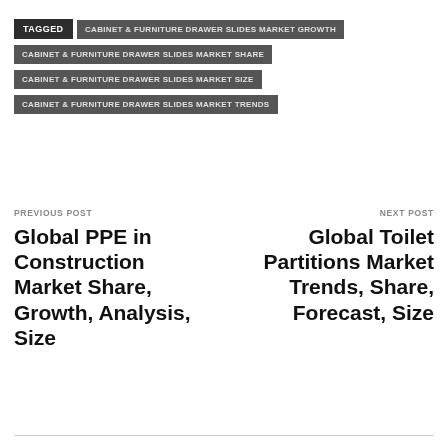TAGGED | CABINET & FURNITURE DRAWER SLIDES MARKET GROWTH
CABINET & FURNITURE DRAWER SLIDES MARKET SHARE
CABINET & FURNITURE DRAWER SLIDES MARKET SIZE
CABINET & FURNITURE DRAWER SLIDES MARKET TRENDS
PREVIOUS POST
Global PPE in Construction Market Share, Growth, Analysis, Size
NEXT POST
Global Toilet Partitions Market Trends, Share, Forecast, Size